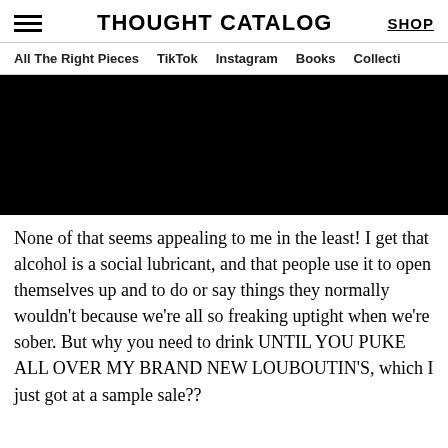THOUGHT CATALOG | SHOP
All The Right Pieces | TikTok | Instagram | Books | Collecti
[Figure (photo): Large black hero image, full width]
None of that seems appealing to me in the least! I get that alcohol is a social lubricant, and that people use it to open themselves up and to do or say things they normally wouldn't because we're all so freaking uptight when we're sober. But why you need to drink UNTIL YOU PUKE ALL OVER MY BRAND NEW LOUBOUTIN'S, which I just got at a sample sale??